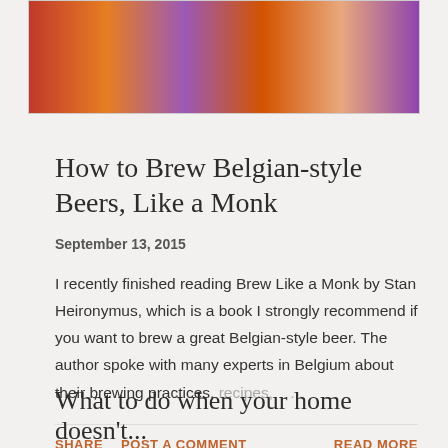[Figure (photo): Decorative colorful image with orange, red, and purple swirling patterns, partially visible at top of page]
How to Brew Belgian-style Beers, Like a Monk
September 13, 2015
I recently finished reading Brew Like a Monk by Stan Heironymus, which is a book I strongly recommend if you want to brew a great Belgian-style beer.  The author spoke with many experts in Belgium about their brewing practices, recipes, ...
SHARE  POST A COMMENT  READ MORE
What to do when your home doesn't...